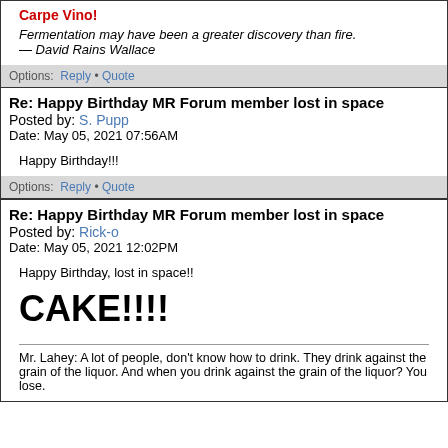Carpe Vino!
Fermentation may have been a greater discovery than fire.
— David Rains Wallace
Options: Reply • Quote
Re: Happy Birthday MR Forum member lost in space
Posted by: S. Pupp
Date: May 05, 2021 07:56AM
Happy Birthday!!!
Options: Reply • Quote
Re: Happy Birthday MR Forum member lost in space
Posted by: Rick-o
Date: May 05, 2021 12:02PM
Happy Birthday, lost in space!!
CAKE!!!!
Mr. Lahey: A lot of people, don't know how to drink. They drink against the grain of the liquor. And when you drink against the grain of the liquor? You lose.